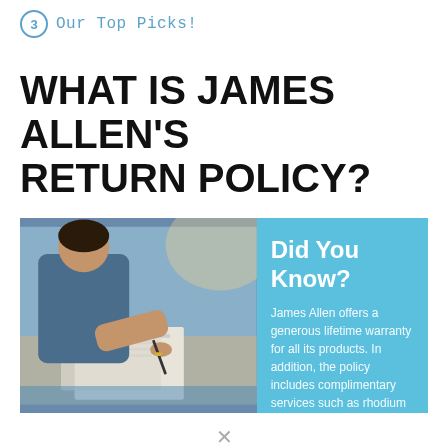3  Our Top Picks!
WHAT IS JAMES ALLEN'S RETURN POLICY?
[Figure (photo): Person in blue shirt working at a desk with documents and a pen, alongside a blue 'Did You Know?' info box stating: 'James Allen offers a generous lifetime warranty for all its products. In addition, the policy includes complimentary services such as rhodium']